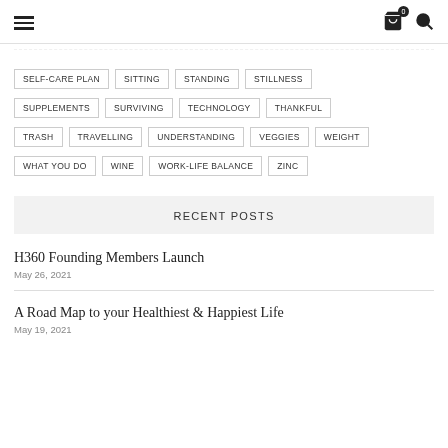Navigation header with hamburger menu, cart icon (0), and search icon
SELF-CARE PLAN
SITTING
STANDING
STILLNESS
SUPPLEMENTS
SURVIVING
TECHNOLOGY
THANKFUL
TRASH
TRAVELLING
UNDERSTANDING
VEGGIES
WEIGHT
WHAT YOU DO
WINE
WORK-LIFE BALANCE
ZINC
RECENT POSTS
H360 Founding Members Launch
May 26, 2021
A Road Map to your Healthiest & Happiest Life
May 19, 2021